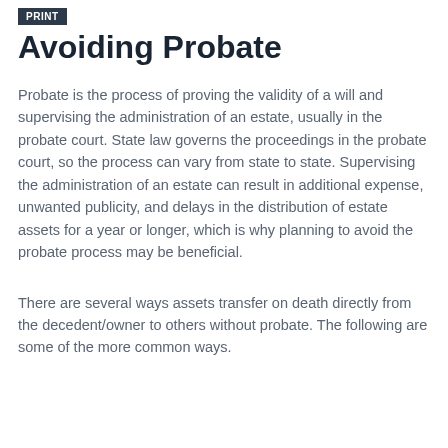Print
Avoiding Probate
Probate is the process of proving the validity of a will and supervising the administration of an estate, usually in the probate court. State law governs the proceedings in the probate court, so the process can vary from state to state. Supervising the administration of an estate can result in additional expense, unwanted publicity, and delays in the distribution of estate assets for a year or longer, which is why planning to avoid the probate process may be beneficial.
There are several ways assets transfer on death directly from the decedent/owner to others without probate. The following are some of the more common ways.